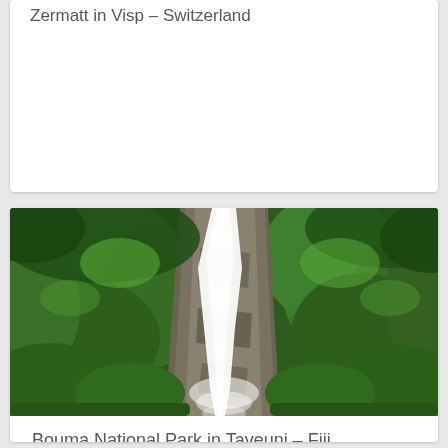Zermatt in Visp – Switzerland
[Figure (photo): Tropical waterfall surrounded by dense green jungle vegetation, with white cascading water flowing down rocky cliffs]
Bouma National Park in Taveuni – Fiji